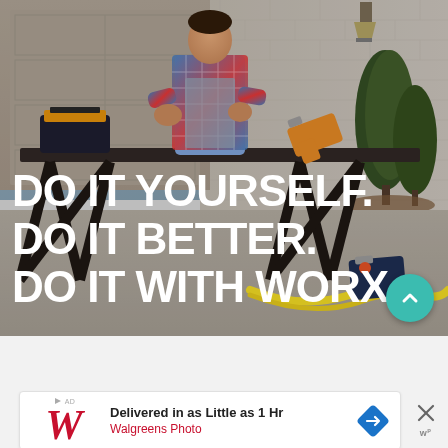[Figure (photo): A person in a plaid shirt and work apron standing behind a workbench outdoors, with tools, a tool bag, and power tools on the bench. A garage and brick wall with bushes visible in background. White bold text overlay reads: DO IT YOURSELF. DO IT BETTER. DO IT WITH WORX. A teal scroll-to-top button is visible in the bottom right corner.]
[Figure (screenshot): An advertisement banner for Walgreens Photo reading 'Delivered in as Little as 1 Hr' with Walgreens cursive W logo, a navigation arrow icon, and a close (X) button on the right.]